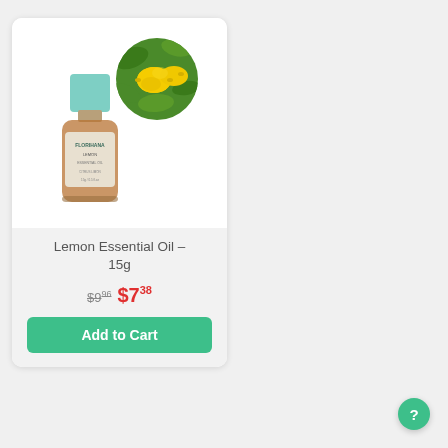[Figure (photo): Product card showing a small amber glass bottle of Florihana Lemon Essential Oil with a teal/mint cap, overlaid with a circular photo of lemons on a tree with green foliage]
Lemon Essential Oil – 15g
$9.96  $7.38
Add to Cart